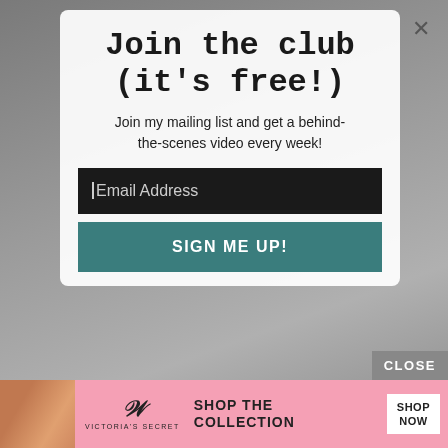[Figure (screenshot): Website popup modal with a background photo of a person at a desk with studio equipment. Modal contains a title, subtitle, email input, and sign-up button.]
Join the club (it's free!)
Join my mailing list and get a behind-the-scenes video every week!
Email Address
SIGN ME UP!
CLOSE
[Figure (screenshot): Victoria's Secret advertisement banner at bottom: woman photo, VS logo, 'SHOP THE COLLECTION' text, 'SHOP NOW' button]